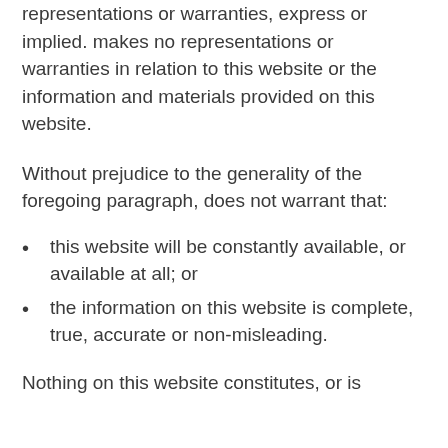representations or warranties, express or implied. makes no representations or warranties in relation to this website or the information and materials provided on this website.
Without prejudice to the generality of the foregoing paragraph, does not warrant that:
this website will be constantly available, or available at all; or
the information on this website is complete, true, accurate or non-misleading.
Nothing on this website constitutes, or is